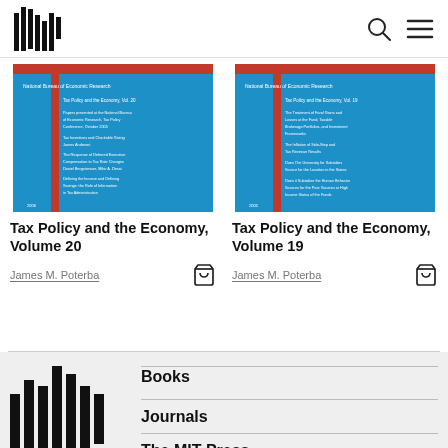MIT Press header with logo, search, and menu icons
[Figure (illustration): Book cover: Tax Policy and the Economy, Volume 20 — blue cover with red vertical bar and text listing by National Bureau of Economic Research]
Tax Policy and the Economy, Volume 20
James M. Poterba
[Figure (illustration): Book cover: Tax Policy and the Economy, Volume 19 — blue cover with red vertical bar and text listing by National Bureau of Economic Research]
Tax Policy and the Economy, Volume 19
James M. Poterba
Books | Journals | The MIT Press
[Figure (logo): MIT Press logo in footer — vertical bars in various heights forming a stylized figure]